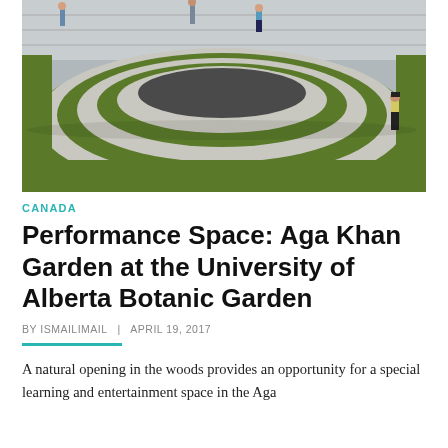[Figure (photo): Aerial/elevated view of a circular amphitheater-style performance space with concentric grass and concrete rings, with figures of people standing on and around the structure. Stone wall visible in the background.]
CANADA
Performance Space: Aga Khan Garden at the University of Alberta Botanic Garden
BY ISMAILIMAIL  |  APRIL 19, 2017
A natural opening in the woods provides an opportunity for a special learning and entertainment space in the Aga